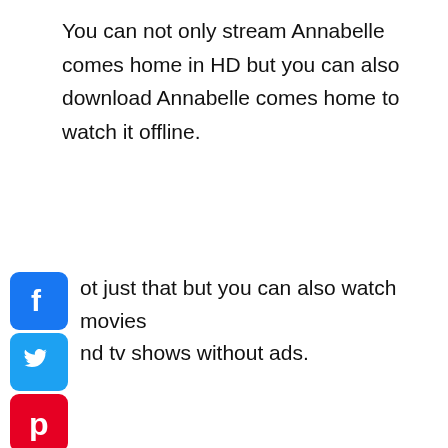You can not only stream Annabelle comes home in HD but you can also download Annabelle comes home to watch it offline.
[Figure (logo): Facebook logo icon - blue rounded square with white 'f']
[Figure (logo): Twitter logo icon - blue rounded square with white bird]
[Figure (logo): Pinterest logo icon - red rounded square with white 'p']
Not just that but you can also watch movies and tv shows without ads.
You can also watch spiderman far from home, avengers end game, etc. on this site.
Einthusan:
Einthusan tv is a popular site where you can